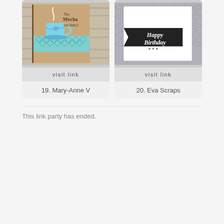[Figure (photo): Handmade card with a coffee cup illustration and text 'You Mocha me SMILE' on kraft background with teal patterned washi tape]
visit link
19. Mary-Anne V
[Figure (photo): Handmade birthday card with 'Happy Birthday' text in script on black banner against metallic diamond plate background]
visit link
20. Eva Scraps
This link party has ended.